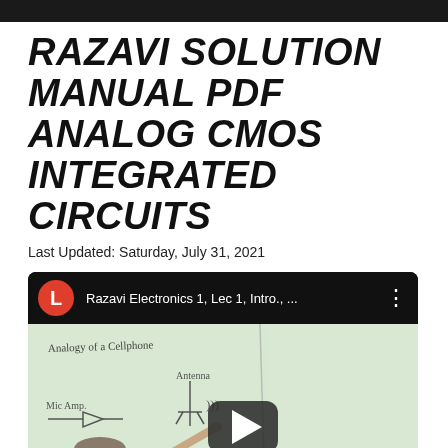RAZAVI SOLUTION MANUAL PDF ANALOG CMOS INTEGRATED CIRCUITS
Last Updated: Saturday, July 31, 2021
[Figure (screenshot): YouTube video thumbnail showing 'Razavi Electronics 1, Lec 1, Intro., ...' with a professor pointing at a whiteboard. The whiteboard has handwritten text 'Analogy of a Cellphone', 'Antenna', 'Mic Amp' with a circuit diagram. A YouTube play button overlay is visible in the center of the thumbnail. The video has a dark top bar with a red circular avatar showing 'L', the video title, and a three-dot menu icon.]